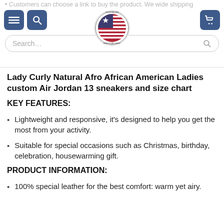Customers can choose a link to buy the product. We wide shipping...
[Figure (logo): Shirknation American Made circular logo with US flag]
Search...
Lady Curly Natural Afro African American Ladies custom Air Jordan 13 sneakers and size chart
KEY FEATURES:
Lightweight and responsive, it's designed to help you get the most from your activity.
Suitable for special occasions such as Christmas, birthday, celebration, housewarming gift.
PRODUCT INFORMATION:
100% special leather for the best comfort: warm yet airy.